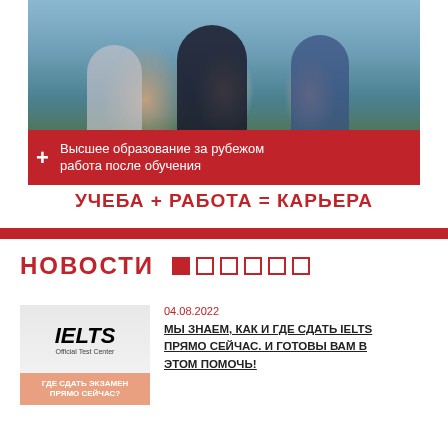[Figure (photo): Students walking on a campus, smiling and carrying books and bags. A young man in a black jacket is in the center, flanked by two other students.]
+ Высшее образование за рубежом + работа после обучения
УЧЕБА + РАБОТА = КАРЬЕРА
НОВОСТИ
[Figure (photo): IELTS Official Test Center banner/flag photo with an orange badge overlay reading 'ГДЕ СДАТЬ ЭКЗАМЕН ПРЯМО СЕЙЧАС?']
04.08.2022
МЫ ЗНАЕМ, КАК И ГДЕ СДАТЬ IELTS ПРЯМО СЕЙЧАС. И ГОТОВЫ ВАМ В ЭТОМ ПОМОЧЬ!